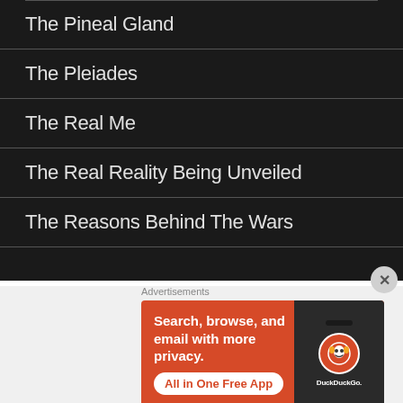The Pineal Gland
The Pleiades
The Real Me
The Real Reality Being Unveiled
The Reasons Behind The Wars
Advertisements
[Figure (screenshot): DuckDuckGo advertisement banner: orange background with text 'Search, browse, and email with more privacy. All in One Free App' and a phone image showing DuckDuckGo app logo]